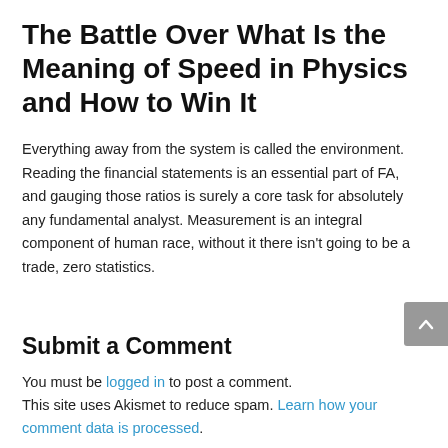The Battle Over What Is the Meaning of Speed in Physics and How to Win It
Everything away from the system is called the environment. Reading the financial statements is an essential part of FA, and gauging those ratios is surely a core task for absolutely any fundamental analyst. Measurement is an integral component of human race, without it there isn't going to be a trade, zero statistics.
Submit a Comment
You must be logged in to post a comment.
This site uses Akismet to reduce spam. Learn how your comment data is processed.